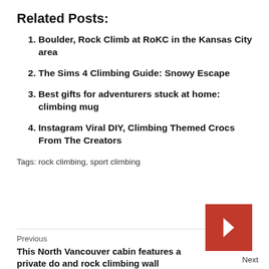Related Posts:
Boulder, Rock Climb at RoKC in the Kansas City area
The Sims 4 Climbing Guide: Snowy Escape
Best gifts for adventurers stuck at home: climbing mug
Instagram Viral DIY, Climbing Themed Crocs From The Creators
Tags: rock climbing, sport climbing
Previous
This North Vancouver cabin features a private do and rock climbing wall
Next